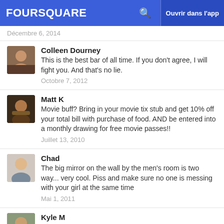FOURSQUARE  Ouvrir dans l'app
Décembre 6, 2014
Colleen Dourney
This is the best bar of all time. If you don't agree, I will fight you. And that's no lie.
Octobre 7, 2012
Matt K
Movie buff? Bring in your movie tix stub and get 10% off your total bill with purchase of food. AND be entered into a monthly drawing for free movie passes!!
Juillet 13, 2010
Chad
The big mirror on the wall by the men's room is two way... very cool. Piss and make sure no one is messing with your girl at the same time
Mai 1, 2011
Kyle M
Good place for a beer if your wife is next door getting her nails done.
Septembre 28, 2013